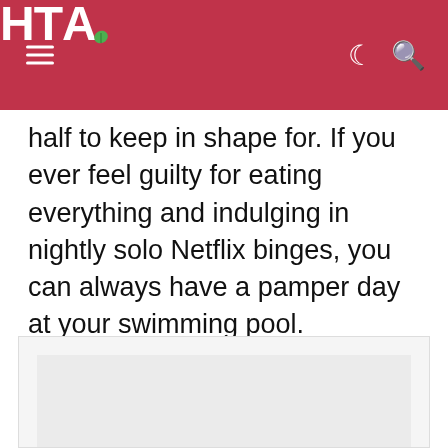HTA
half to keep in shape for. If you ever feel guilty for eating everything and indulging in nightly solo Netflix binges, you can always have a pamper day at your swimming pool. Swimming + sauna = bliss.
[Figure (other): Advertisement placeholder box with grey background]